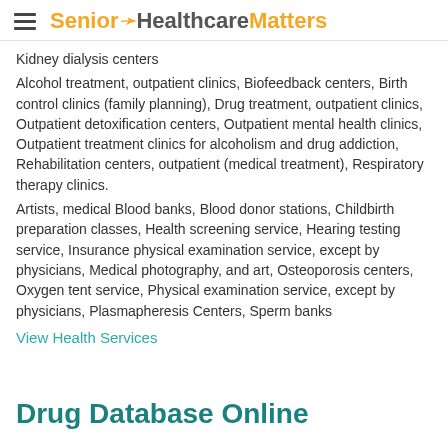Senior HealthcareMatters
Kidney dialysis centers
Alcohol treatment, outpatient clinics, Biofeedback centers, Birth control clinics (family planning), Drug treatment, outpatient clinics, Outpatient detoxification centers, Outpatient mental health clinics, Outpatient treatment clinics for alcoholism and drug addiction, Rehabilitation centers, outpatient (medical treatment), Respiratory therapy clinics.
Artists, medical Blood banks, Blood donor stations, Childbirth preparation classes, Health screening service, Hearing testing service, Insurance physical examination service, except by physicians, Medical photography, and art, Osteoporosis centers, Oxygen tent service, Physical examination service, except by physicians, Plasmapheresis Centers, Sperm banks
View Health Services
Drug Database Online